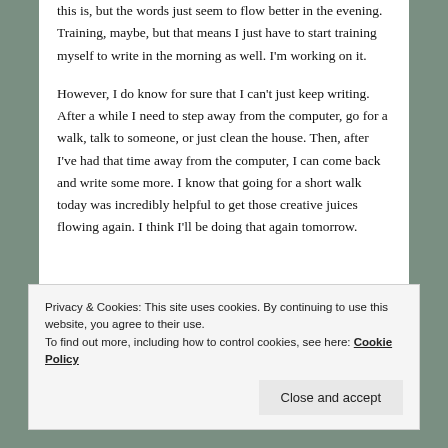this is, but the words just seem to flow better in the evening. Training, maybe, but that means I just have to start training myself to write in the morning as well. I'm working on it.
However, I do know for sure that I can't just keep writing. After a while I need to step away from the computer, go for a walk, talk to someone, or just clean the house. Then, after I've had that time away from the computer, I can come back and write some more. I know that going for a short walk today was incredibly helpful to get those creative juices flowing again. I think I'll be doing that again tomorrow.
Privacy & Cookies: This site uses cookies. By continuing to use this website, you agree to their use.
To find out more, including how to control cookies, see here: Cookie Policy